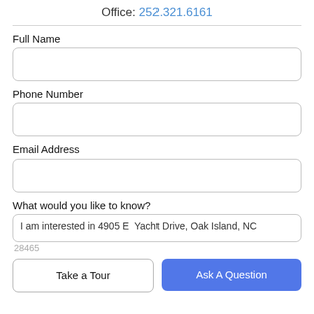Office: 252.321.6161
Full Name
Phone Number
Email Address
What would you like to know?
I am interested in 4905 E  Yacht Drive, Oak Island, NC
Take a Tour
Ask A Question